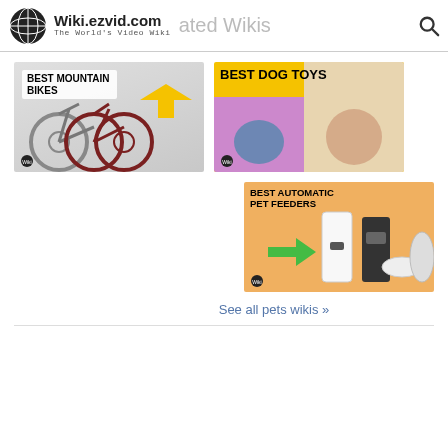Wiki.ezvid.com The World's Video Wiki
[Figure (screenshot): Best Mountain Bikes thumbnail with two mountain bikes on grey background and yellow arrow]
[Figure (screenshot): Best Dog Toys thumbnail with yellow background and two dog toys on purple and tan backgrounds]
[Figure (screenshot): Best Automatic Pet Feeders thumbnail with orange background showing automatic pet feeders and green arrow]
See all pets wikis »